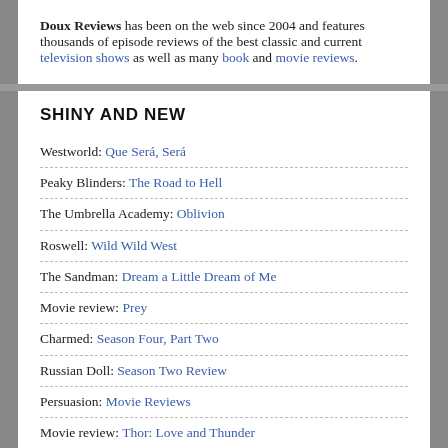Doux Reviews has been on the web since 2004 and features thousands of episode reviews of the best classic and current television shows as well as many book and movie reviews.
SHINY AND NEW
Westworld: Que Será, Será
Peaky Blinders: The Road to Hell
The Umbrella Academy: Oblivion
Roswell: Wild Wild West
The Sandman: Dream a Little Dream of Me
Movie review: Prey
Charmed: Season Four, Part Two
Russian Doll: Season Two Review
Persuasion: Movie Reviews
Movie review: Thor: Love and Thunder
Star Trek SNW: A Quality of Mercy
CLASSIC GOODNESS